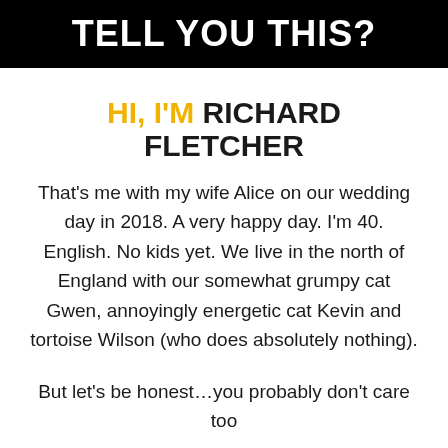TELL YOU THIS?
HI, I'M RICHARD FLETCHER
That's me with my wife Alice on our wedding day in 2018. A very happy day. I'm 40. English. No kids yet. We live in the north of England with our somewhat grumpy cat Gwen, annoyingly energetic cat Kevin and tortoise Wilson (who does absolutely nothing).
But let's be honest…you probably don't care too